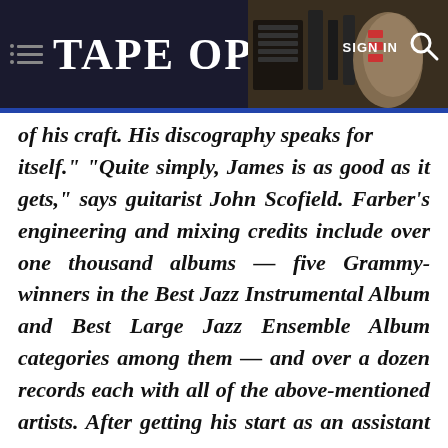TAPE OP — SIGN IN
of his craft. His discography speaks for itself." "Quite simply, James is as good as it gets," says guitarist John Scofield. Farber's engineering and mixing credits include over one thousand albums — five Grammy-winners in the Best Jazz Instrumental Album and Best Large Jazz Ensemble Album categories among them — and over a dozen records each with all of the above-mentioned artists. After getting his start as an assistant at